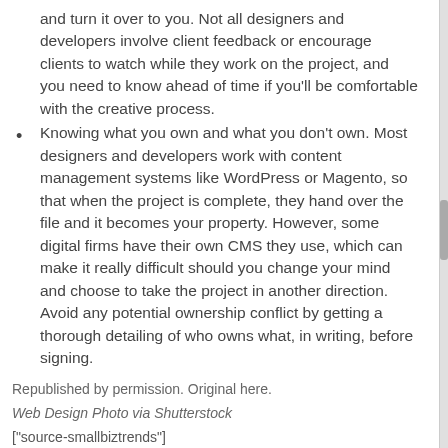and turn it over to you. Not all designers and developers involve client feedback or encourage clients to watch while they work on the project, and you need to know ahead of time if you'll be comfortable with the creative process.
Knowing what you own and what you don't own. Most designers and developers work with content management systems like WordPress or Magento, so that when the project is complete, they hand over the file and it becomes your property. However, some digital firms have their own CMS they use, which can make it really difficult should you change your mind and choose to take the project in another direction. Avoid any potential ownership conflict by getting a thorough detailing of who owns what, in writing, before signing.
Republished by permission. Original here.
Web Design Photo via Shutterstock
["source-smallbiztrends"]
TECH  'Read', a, Before, designer, hiring, need, This, to, Web, you,  permalink